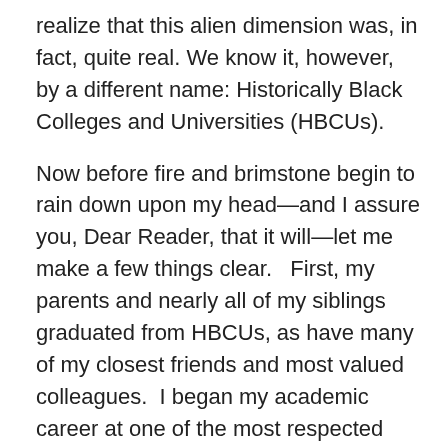realize that this alien dimension was, in fact, quite real. We know it, however, by a different name: Historically Black Colleges and Universities (HBCUs).
Now before fire and brimstone begin to rain down upon my head—and I assure you, Dear Reader, that it will—let me make a few things clear.   First, my parents and nearly all of my siblings graduated from HBCUs, as have many of my closest friends and most valued colleagues.  I began my academic career at one of the most respected HBCUs in the country.  And I have spent most of my professional life working on behalf of HBCUs by helping secure the financial, human, and intellectual resources they need to achieve their collective mission of providing education and opportunity to a population whose needs and potential have been ignored and underserved by majority